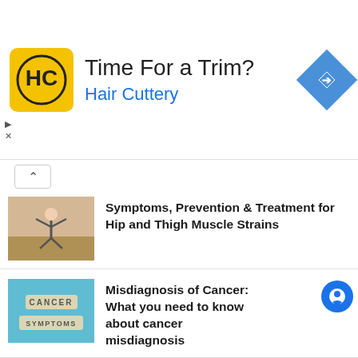[Figure (screenshot): Hair Cuttery advertisement banner with yellow HC logo, text 'Time For a Trim?' and 'Hair Cuttery' in blue, and a blue diamond navigation icon]
Symptoms, Prevention & Treatment for Hip and Thigh Muscle Strains
Misdiagnosis of Cancer: What you need to know about cancer misdiagnosis
The tension headache may cause headache at base of skull
Does whey protein cause hair loss?
Atkins Diet Induction Phase